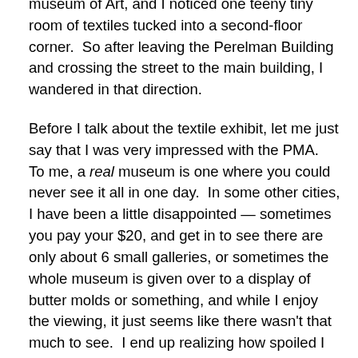museum of Art, and I noticed one teeny tiny room of textiles tucked into a second-floor corner.  So after leaving the Perelman Building and crossing the street to the main building, I wandered in that direction.
Before I talk about the textile exhibit, let me just say that I was very impressed with the PMA.  To me, a real museum is one where you could never see it all in one day.  In some other cities, I have been a little disappointed — sometimes you pay your $20, and get in to see there are only about 6 small galleries, or sometimes the whole museum is given over to a display of butter molds or something, and while I enjoy the viewing, it just seems like there wasn't that much to see.  I end up realizing how spoiled I am by the high quality of our lovely Museum of Fine Art Houston.  So I had steeled myself in case the PMA was just an ordinary museum.